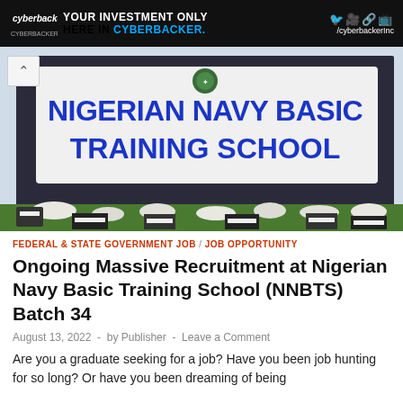[Figure (infographic): Cyberbacker advertisement banner with logo, text 'YOUR INVESTMENT ONLY HERE IN CYBERBACKER.' and social media icons]
[Figure (photo): Photo of Nigerian Navy Basic Training School sign with blue letters on white background, navy crest at top, with decorative stone landscaping and grass in foreground]
FEDERAL & STATE GOVERNMENT JOB / JOB OPPORTUNITY
Ongoing Massive Recruitment at Nigerian Navy Basic Training School (NNBTS) Batch 34
August 13, 2022  -  by Publisher  -  Leave a Comment
Are you a graduate seeking for a job? Have you been job hunting for so long? Or have you been dreaming of being